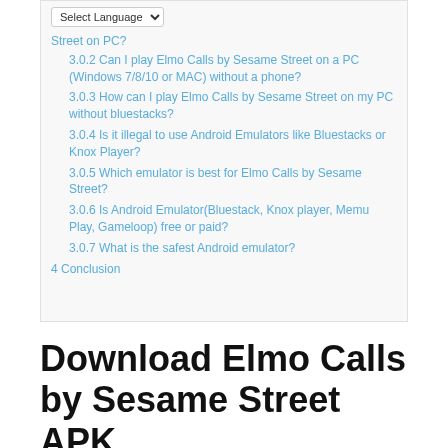Street on PC?
3.0.2 Can I play Elmo Calls by Sesame Street on a PC (Windows 7/8/10 or MAC) without a phone?
3.0.3 How can I play Elmo Calls by Sesame Street on my PC without bluestacks?
3.0.4 Is it illegal to use Android Emulators like Bluestacks or Knox Player?
3.0.5 Which emulator is best for Elmo Calls by Sesame Street?
3.0.6 Is Android Emulator(Bluestack, Knox player, Memu Play, Gameloop) free or paid?
3.0.7 What is the safest Android emulator?
4 Conclusion
Download Elmo Calls by Sesame Street APK